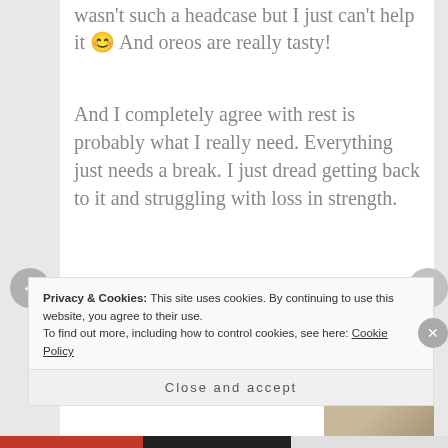wasn't such a headcase but I just can't help it 😀 And oreos are really tasty!
And I completely agree with rest is probably what I really need. Everything just needs a break. I just dread getting back to it and struggling with loss in strength.
↩ REPLY
📅 NOVEMBER 5, 2013 AT 6:08 PM
Privacy & Cookies: This site uses cookies. By continuing to use this website, you agree to their use.
To find out more, including how to control cookies, see here: Cookie Policy
Close and accept